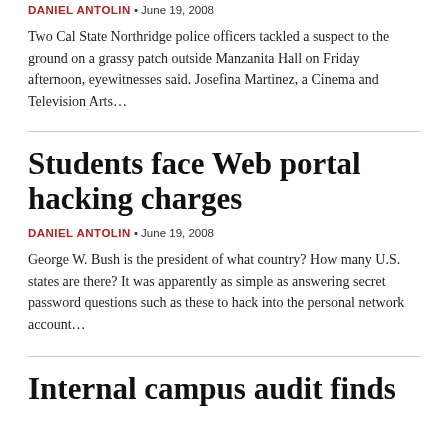DANIEL ANTOLIN • June 19, 2008
Two Cal State Northridge police officers tackled a suspect to the ground on a grassy patch outside Manzanita Hall on Friday afternoon, eyewitnesses said. Josefina Martinez, a Cinema and Television Arts…
Students face Web portal hacking charges
DANIEL ANTOLIN • June 19, 2008
George W. Bush is the president of what country? How many U.S. states are there? It was apparently as simple as answering secret password questions such as these to hack into the personal network account…
Internal campus audit finds